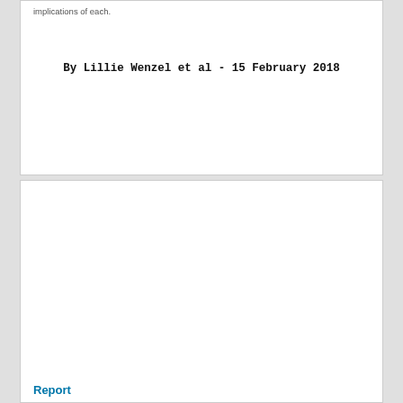implications of each.
By Lillie Wenzel et al - 15 February 2018
Report